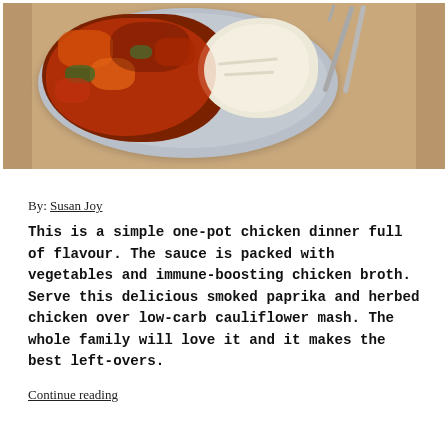[Figure (photo): Overhead photo of a gray ceramic plate with tomato-based chicken and vegetable stew on the left side and creamy cauliflower mash on the right side, with silverware (fork and knife) resting on the right side of the plate. The plate sits on a burlap/linen textured surface.]
By: Susan Joy
This is a simple one-pot chicken dinner full of flavour. The sauce is packed with vegetables and immune-boosting chicken broth. Serve this delicious smoked paprika and herbed chicken over low-carb cauliflower mash. The whole family will love it and it makes the best left-overs.
Continue reading